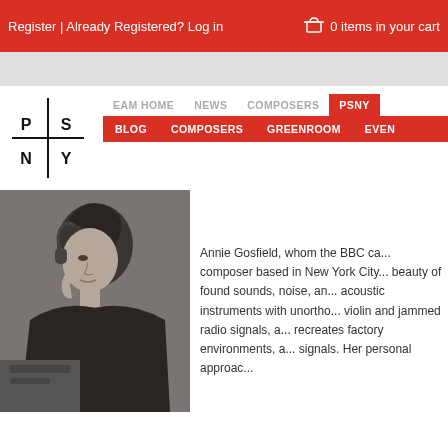Register | Already Registered? Log in   0 items in your cart
[Figure (logo): PSNY logo — stylized cross with letters P, S, N, Y]
EAM HOME   NEWS   COMPOSERS   PSNY   BLOG   COMPOSERS   GREENROOM   EVEN
[Figure (photo): Black and white photo of Annie Gosfield wearing headphones and looking thoughtful]
Annie Gosfield, whom the BBC ca... composer based in New York City... beauty of found sounds, noise, an... acoustic instruments with unortho... violin and jammed radio signals, a... recreates factory environments, a... signals. Her personal approac...